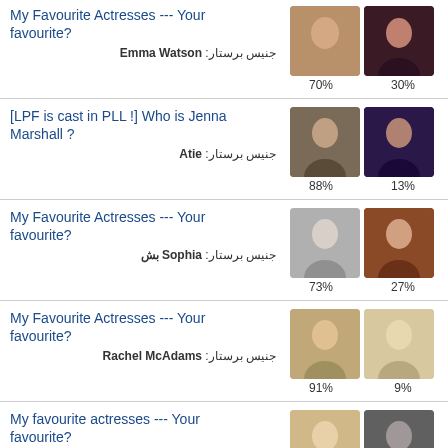My Favourite Actresses --- Your favourite?
جنیس برستار: Emma Watson
70% / 30%
[LPF is cast in PLL !] Who is Jenna Marshall ?
جنیس برستار: Atie
88% / 13%
My Favourite Actresses --- Your favourite?
جنیس برستار: بش Sophia
73% / 27%
My Favourite Actresses --- Your favourite?
جنیس برستار: Rachel McAdams
91% / 9%
My favourite actresses --- Your favourite?
جنیس برستار: Ashley Benson